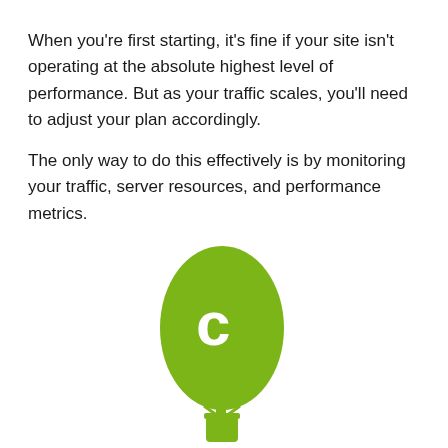When you're first starting, it's fine if your site isn't operating at the absolute highest level of performance. But as your traffic scales, you'll need to adjust your plan accordingly.
The only way to do this effectively is by monitoring your traffic, server resources, and performance metrics.
[Figure (logo): Green hot air balloon logo with a white letter C in the center, representing a web hosting or cloud service brand.]